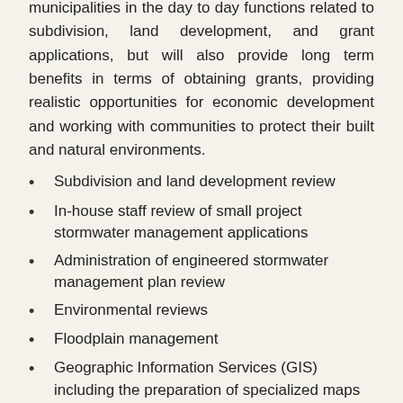municipalities in the day to day functions related to subdivision, land development, and grant applications, but will also provide long term benefits in terms of obtaining grants, providing realistic opportunities for economic development and working with communities to protect their built and natural environments.
Subdivision and land development review
In-house staff review of small project stormwater management applications
Administration of engineered stormwater management plan review
Environmental reviews
Floodplain management
Geographic Information Services (GIS) including the preparation of specialized maps for use by municipalities
Grant administration